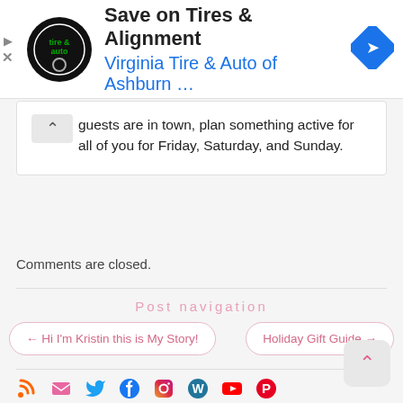[Figure (screenshot): Advertisement banner for Virginia Tire & Auto of Ashburn with logo and navigation icon]
guests are in town, plan something active for all of you for Friday, Saturday, and Sunday.
Comments are closed.
Post navigation
← Hi I'm Kristin this is My Story!
Holiday Gift Guide →
[Figure (infographic): Social media icons row: RSS, Email, Twitter, Facebook, Instagram, WordPress, YouTube, Pinterest]